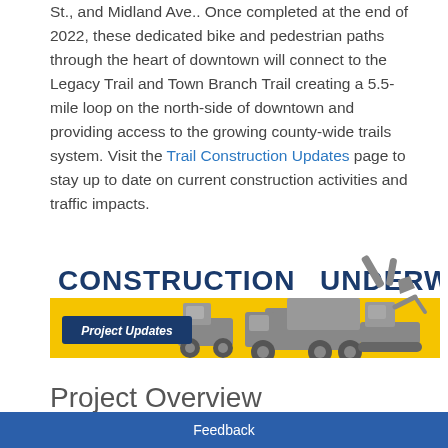St., and Midland Ave.. Once completed at the end of 2022, these dedicated bike and pedestrian paths through the heart of downtown will connect to the Legacy Trail and Town Branch Trail creating a 5.5-mile loop on the north-side of downtown and providing access to the growing county-wide trails system. Visit the Trail Construction Updates page to stay up to date on current construction activities and traffic impacts.
[Figure (infographic): Yellow banner graphic reading 'CONSTRUCTION UNDERWAY' with silhouettes of construction vehicles (dump truck, excavator, bulldozer) in gray, and a dark blue button labeled 'Project Updates']
Project Overview
Feedback